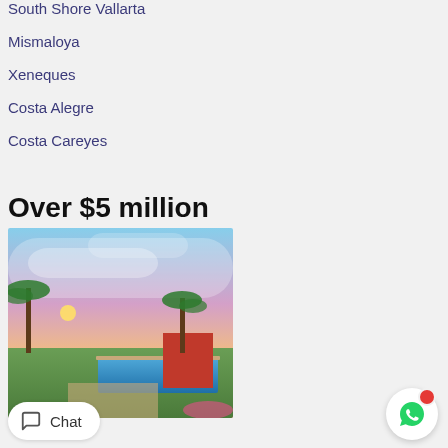South Shore Vallarta
Mismaloya
Xeneques
Costa Alegre
Costa Careyes
Over $5 million
[Figure (photo): Tropical villa with swimming pool at sunset, palm trees and colorful sky in background]